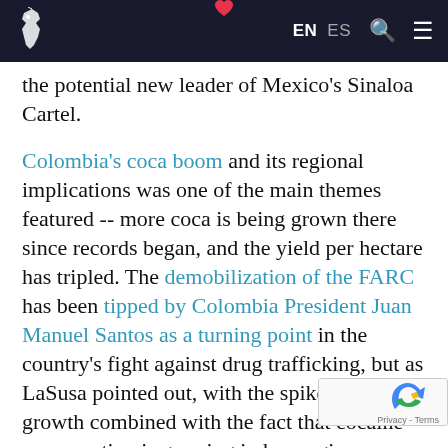EN  ES  [search] [menu]
the potential new leader of Mexico's Sinaloa Cartel.
Colombia's coca boom and its regional implications was one of the main themes featured -- more coca is being grown there since records began, and the yield per hectare has tripled. The demobilization of the FARC has been tipped by Colombia President Juan Manuel Santos as a turning point in the country's fight against drug trafficking, but as LaSusa pointed out, with the spike in coca growth combined with the fact that cocaine consumption is growing in key regions around the world it unlikely that this trade will do anything